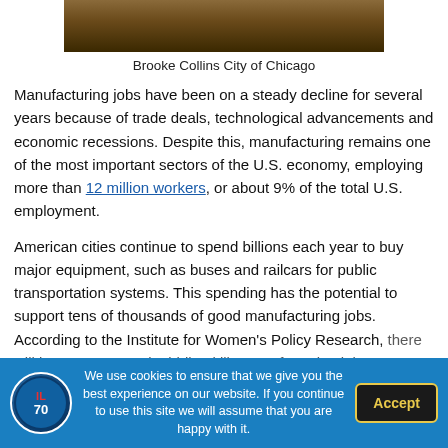[Figure (photo): Partial photo showing what appears to be an animal or outdoor scene, cropped at top of page]
Brooke Collins City of Chicago
Manufacturing jobs have been on a steady decline for several years because of trade deals, technological advancements and economic recessions. Despite this, manufacturing remains one of the most important sectors of the U.S. economy, employing more than 12 million workers, or about 9% of the total U.S. employment.
American cities continue to spend billions each year to buy major equipment, such as buses and railcars for public transportation systems. This spending has the potential to support tens of thousands of good manufacturing jobs. According to the Institute for Women's Policy Research, there will be 300,000 good middle-skills manufacturing jobs
We use cookies to ensure that we give you the best experience on our website. If you continue to use this site we will assume that you are happy with it.